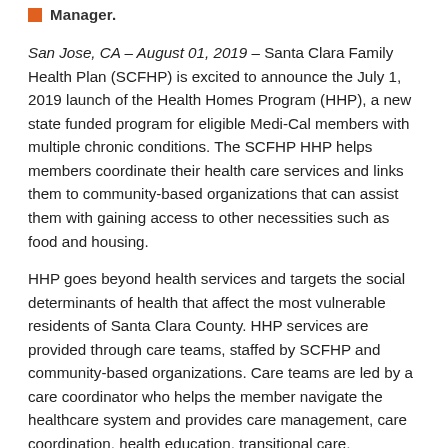Manager.
San Jose, CA – August 01, 2019 – Santa Clara Family Health Plan (SCFHP) is excited to announce the July 1, 2019 launch of the Health Homes Program (HHP), a new state funded program for eligible Medi-Cal members with multiple chronic conditions. The SCFHP HHP helps members coordinate their health care services and links them to community-based organizations that can assist them with gaining access to other necessities such as food and housing.
HHP goes beyond health services and targets the social determinants of health that affect the most vulnerable residents of Santa Clara County. HHP services are provided through care teams, staffed by SCFHP and community-based organizations. Care teams are led by a care coordinator who helps the member navigate the healthcare system and provides care management, care coordination, health education, transitional care, connections to member and family supports, and referrals to community safety net